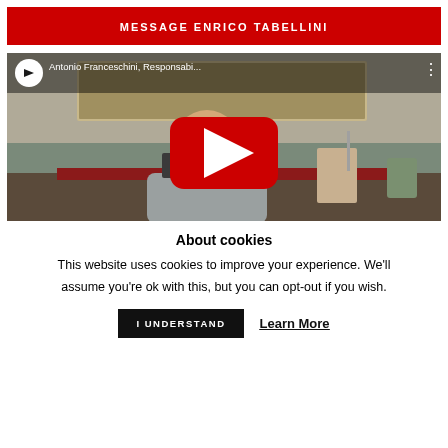MESSAGE ENRICO TABELLINI
[Figure (screenshot): YouTube video embed showing a man seated at a desk with artwork on the wall behind him. Video title: 'Antonio Franceschini, Responsabi...' with YouTube play button overlay.]
About cookies
This website uses cookies to improve your experience. We'll assume you're ok with this, but you can opt-out if you wish.
I UNDERSTAND    Learn More